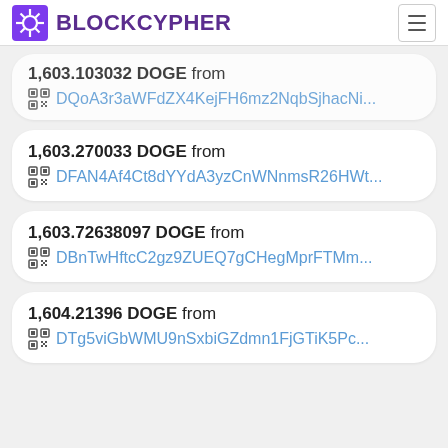BLOCKCYPHER
1,603.103032 DOGE from DQoA3r3aWFdZX4KejFH6mz2NqbSjhacNi...
1,603.270033 DOGE from DFAN4Af4Ct8dYYdA3yzCnWNnmsR26HWt...
1,603.72638097 DOGE from DBnTwHftcC2gz9ZUEQ7gCHegMprFTMm...
1,604.21396 DOGE from DTg5viGbWMU9nSxbiGZdmn1FjGTiK5Pc...